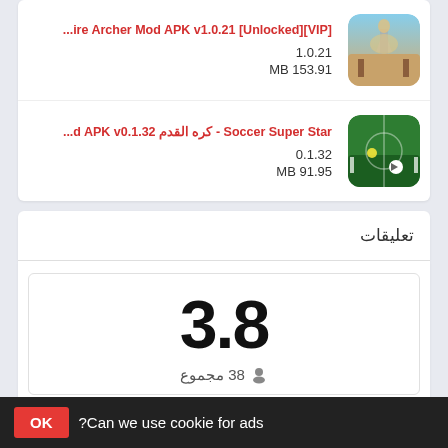...ire Archer Mod APK v1.0.21 [Unlocked][VIP]
1.0.21
MB 153.91
...d APK v0.1.32 كره القدم - Soccer Super Star
0.1.32
MB 91.95
تعليقات
3.8
38 مجموع
OK ?Can we use cookie for ads